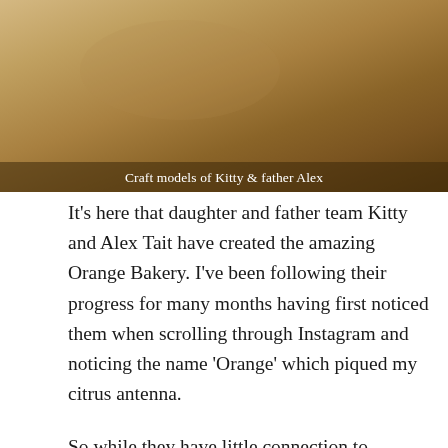[Figure (photo): Craft models of Kitty and father Alex, shown against a warm tan/brown textured background]
Craft models of Kitty & father Alex
It's here that daughter and father team Kitty and Alex Tait have created the amazing Orange Bakery. I've been following their progress for many months having first noticed them when scrolling through Instagram and noticing the name 'Orange' which piqued my citrus antenna.
So while they have little connection to Sevilles or Navels, they have grown from baking in the kitchen for fun to opening a gorgeous shop on Watlington High Street.